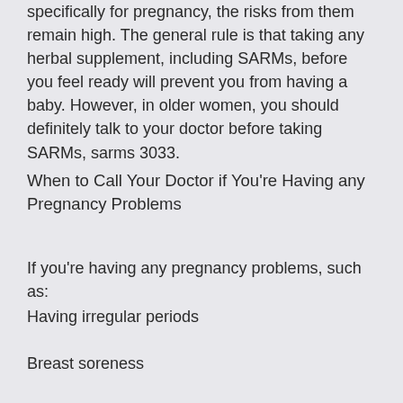specifically for pregnancy, the risks from them remain high. The general rule is that taking any herbal supplement, including SARMs, before you feel ready will prevent you from having a baby. However, in older women, you should definitely talk to your doctor before taking SARMs, sarms 3033.
When to Call Your Doctor if You're Having any Pregnancy Problems
If you're having any pregnancy problems, such as:
Having irregular periods
Breast soreness
Infertility
If you are worried about possible harm to you or your baby, contact your doctor, must